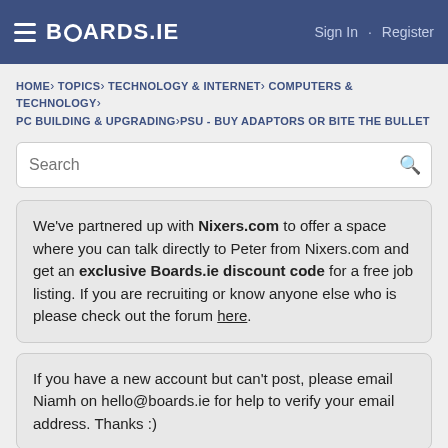BOARDS.IE  Sign In · Register
HOME› TOPICS› TECHNOLOGY & INTERNET› COMPUTERS & TECHNOLOGY› PC BUILDING & UPGRADING›PSU - BUY ADAPTORS OR BITE THE BULLET
Search
We've partnered up with Nixers.com to offer a space where you can talk directly to Peter from Nixers.com and get an exclusive Boards.ie discount code for a free job listing. If you are recruiting or know anyone else who is please check out the forum here.
If you have a new account but can't post, please email Niamh on hello@boards.ie for help to verify your email address. Thanks :)
Advertisement